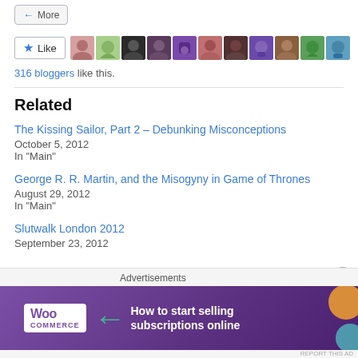[Figure (screenshot): More button and Like button with blogger avatars row]
316 bloggers like this.
Related
The Kissing Sailor, Part 2 – Debunking Misconceptions
October 5, 2012
In "Main"
George R. R. Martin, and the Misogyny in Game of Thrones
August 29, 2012
In "Main"
Slutwalk London 2012
September 23, 2012
[Figure (screenshot): WooCommerce advertisement banner: How to start selling subscriptions online]